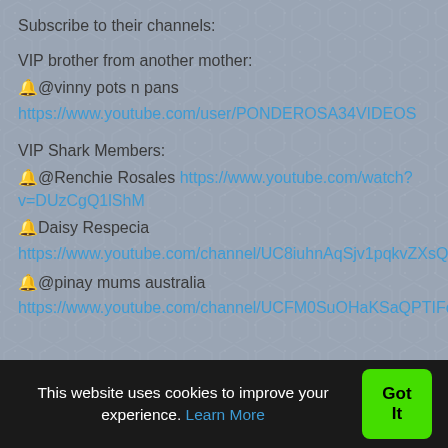Subscribe to their channels:
VIP brother from another mother:
🔔@vinny pots n pans
https://www.youtube.com/user/PONDEROSA34VIDEOS
VIP Shark Members:
🔔@Renchie Rosales https://www.youtube.com/watch?v=DUzCgQ1lShM
🔔Daisy Respecia
https://www.youtube.com/channel/UC8iuhnAqSjv1pqkvZXsQ8Bg
🔔@pinay mums australia
https://www.youtube.com/channel/UCFM0SuOHaKSaQPTIFo_
This website uses cookies to improve your experience. Learn More